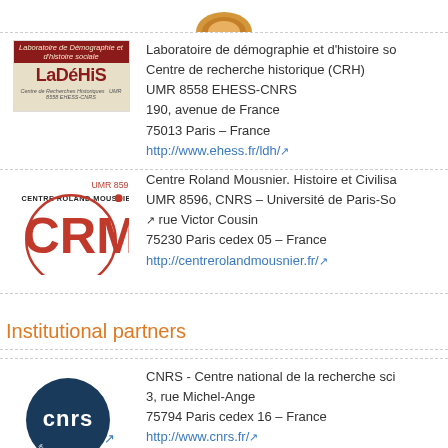[Figure (logo): Partial top logo (coin/medal shape, orange/tan)]
[Figure (logo): LaDéHiS - Laboratoire de démographie et d'histoire sociale logo]
Laboratoire de démographie et d'histoire sociale
Centre de recherche historique (CRH)
UMR 8558 EHESS-CNRS
190, avenue de France
75013 Paris – France
http://www.ehess.fr/ldh/
[Figure (logo): Centre Roland Mousnier CRM logo, UMR 8596]
Centre Roland Mousnier. Histoire et Civilisations
UMR 8596, CNRS – Université de Paris-Sorbonne
1, rue Victor Cousin
75230 Paris cedex 05 – France
http://centrerolandmousnier.fr/
Institutional partners
[Figure (logo): CNRS - Centre national de la recherche scientifique logo]
CNRS - Centre national de la recherche scientifique
3, rue Michel-Ange
75794 Paris cedex 16 – France
http://www.cnrs.fr/